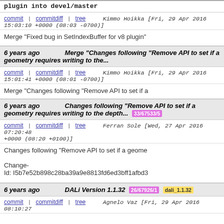plugin into devel/master
commit | commitdiff | tree   Kimmo Hoikka [Fri, 29 Apr 2016 15:03:10 +0000 (08:03 -0700)]
Merge "Fixed bug in SetIndexBuffer for v8 plugin"
6 years ago   Merge "Changes following "Remove API to set if a geometry requires writing to the...
commit | commitdiff | tree   Kimmo Hoikka [Fri, 29 Apr 2016 15:01:41 +0000 (08:01 -0700)]
Merge "Changes following "Remove API to set if a
6 years ago   Changes following "Remove API to set if a geometry requires writing to the depth... 33/67533/5
commit | commitdiff | tree   Ferran Sole [Wed, 27 Apr 2016 07:20:48 +0000 (08:20 +0100)]
Changes following "Remove API to set if a geome...
Change-Id: I5b7e52b898c28ba39a9e8813fd6ed3bff1afbd3
6 years ago   DALi Version 1.1.32  26/67926/1  dali_1.1.32
commit | commitdiff | tree   Agnelo Vaz [Fri, 29 Apr 2016 08:10:27